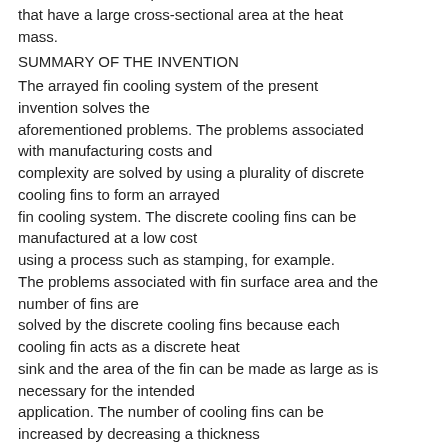a heat sink with deep fins that have a large cross-sectional area at the heat mass.
SUMMARY OF THE INVENTION
The arrayed fin cooling system of the present invention solves the aforementioned problems. The problems associated with manufacturing costs and complexity are solved by using a plurality of discrete cooling fins to form an arrayed fin cooling system. The discrete cooling fins can be manufactured at a low cost using a process such as stamping, for example. The problems associated with fin surface area and the number of fins are solved by the discrete cooling fins because each cooling fin acts as a discrete heat sink and the area of the fin can be made as large as is necessary for the intended application. The number of cooling fins can be increased by decreasing a thickness of each cooling fin.